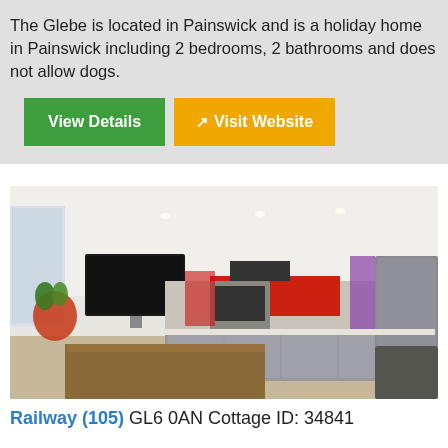The Glebe is located in Painswick and is a holiday home in Painswick including 2 bedrooms, 2 bathrooms and does not allow dogs.
[Figure (photo): Interior photo of a modern open-plan kitchen/living area with white ceiling and recessed lighting, a large flat-screen TV on the wall, red kitchen splashback, grey fitted cabinets, a wooden dining table in the foreground, and a fridge on the right.]
Railway (105) GL6 0AN Cottage ID: 34841